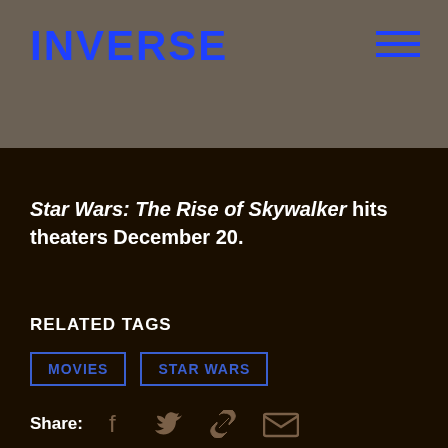INVERSE
Star Wars: The Rise of Skywalker hits theaters December 20.
RELATED TAGS
MOVIES
STAR WARS
Share: